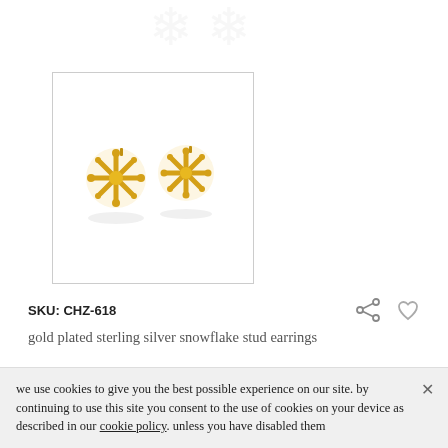[Figure (photo): Gold plated sterling silver snowflake stud earrings product photo on white background]
SKU: CHZ-618
gold plated sterling silver snowflake stud earrings
£7.75
christmas jewellery can be classy too and this pair of winter snowflake studs prove it. made from yellow gold...
read more
we use cookies to give you the best possible experience on our site. by continuing to use this site you consent to the use of cookies on your device as described in our cookie policy. unless you have disabled them